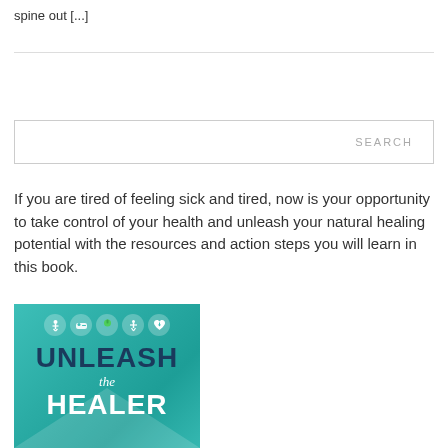spine out [...]
SEARCH
If you are tired of feeling sick and tired, now is your opportunity to take control of your health and unleash your natural healing potential with the resources and action steps you will learn in this book.
[Figure (photo): Book cover for 'Unleash the Healer' with teal background, health icons (yoga, sleep, apple, person, heart), and bold text reading UNLEASH the HEALER]